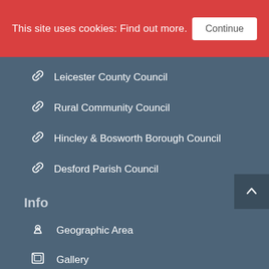This site uses cookies: Find out more. Continue
Leicester County Council
Rural Community Council
Hincley & Bosworth Borough Council
Desford Parish Council
Info
Geographic Area
Gallery
Funding
Partners